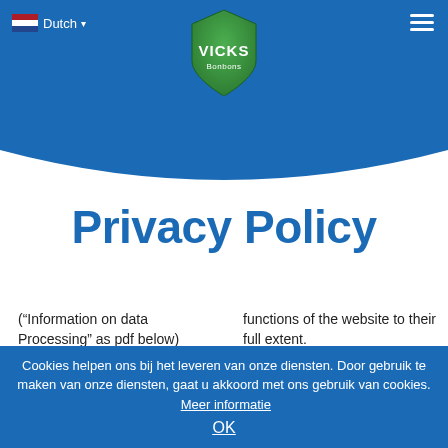[Figure (logo): Vicks Bonbons logo — green shield shape with white VICKS text and Bonbons below, on blue background header]
Privacy Policy
("Information on data Processing" as pdf below)
functions of the website to their full extent.
We, Katjes Fassin GmbH + Co. KG, take the
You can determine how cookies are handled by
Cookies helpen ons bij het leveren van onze diensten. Door gebruik te maken van onze diensten, gaat u akkoord met ons gebruik van cookies. Meer informatie OK